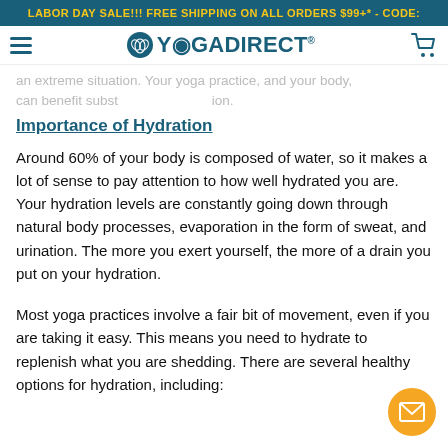LABOR DAY SALE!!! FREE SHIPPING ON ALL ORDERS $99+* - CODE:
YOGADIRECT®
an extreme situation. Your yoga practice, and your body, can benefit subst ion.
Importance of Hydration
Around 60% of your body is composed of water, so it makes a lot of sense to pay attention to how well hydrated you are. Your hydration levels are constantly going down through natural body processes, evaporation in the form of sweat, and urination. The more you exert yourself, the more of a drain you put on your hydration.
Most yoga practices involve a fair bit of movement, even if you are taking it easy. This means you need to hydrate to replenish what you are shedding. There are several healthy options for hydration, including: